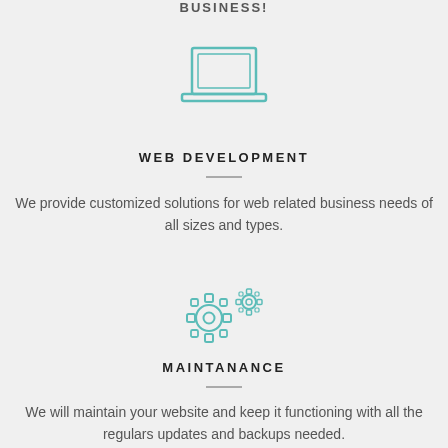BUSINESS!
[Figure (illustration): Teal outline icon of a laptop computer]
WEB DEVELOPMENT
We provide customized solutions for web related business needs of all sizes and types.
[Figure (illustration): Teal outline icon of two gear cogs]
MAINTANANCE
We will maintain your website and keep it functioning with all the regulars updates and backups needed.